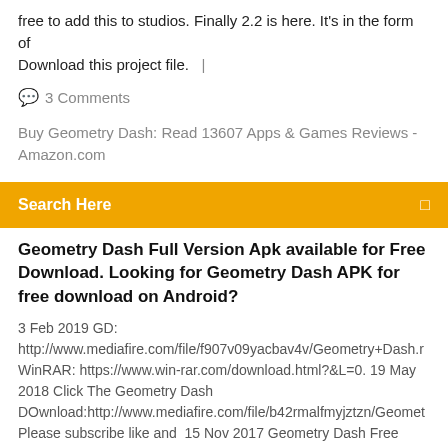free to add this to studios. Finally 2.2 is here. It's in the form of Download this project file.   |
💬  3 Comments
Buy Geometry Dash: Read 13607 Apps & Games Reviews - Amazon.com
Search Here
Geometry Dash Full Version Apk available for Free Download. Looking for Geometry Dash APK for free download on Android?
3 Feb 2019 GD: http://www.mediafire.com/file/f907v09yacbav4v/Geometry+Dash.r WinRAR: https://www.win-rar.com/download.html?&L=0. 19 May 2018 Click The Geometry Dash DOwnload:http://www.mediafire.com/file/b42rmalfmyjztzn/Geomet Please subscribe like and  15 Nov 2017 Geometry Dash Free Download PC Game Cracked in Direct Link and Torrent.